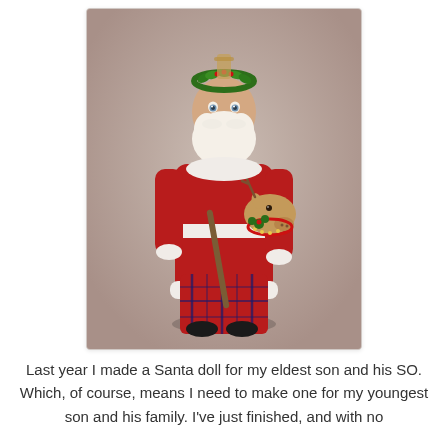[Figure (photo): A handmade Santa Claus doll wearing a red coat trimmed with white fur and a plaid bottom, holding a hobby horse toy (stick horse with a reindeer head). The doll has a white beard, painted face, and a wreath of green holly on its head. It stands on black shoes against a neutral beige-brown gradient background.]
Last year I made a Santa doll for my eldest son and his SO. Which, of course, means I need to make one for my youngest son and his family. I've just finished, and with no